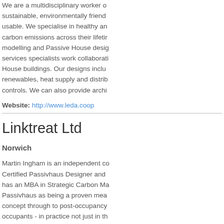We are a multidisciplinary worker co sustainable, environmentally friend usable. We specialise in healthy an carbon emissions across their lifetir modelling and Passive House desig services specialists work collaborati House buildings. Our designs inclu renewables, heat supply and distrib controls. We can also provide archi
Website: http://www.leda.coop
Linktreat Ltd
Norwich
Martin Ingham is an independent co Certified Passivhaus Designer and has an MBA in Strategic Carbon Ma Passivhaus as being a proven mea concept through to post-occupancy occupants - in practice not just in th (formerly the Technology Strategy B domestic new build. Studies include